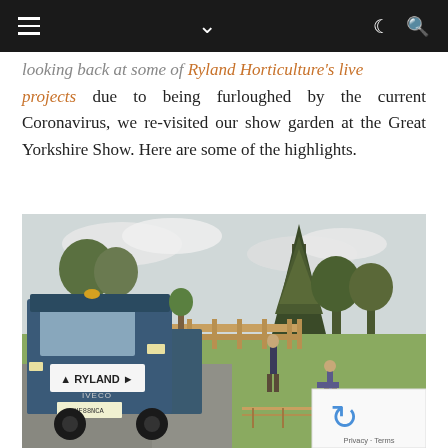Navigation bar with hamburger menu, dropdown arrow, moon/dark-mode icon, and search icon
...looking back at some of Ryland Horticulture's live projects due to being furloughed by the current Coronavirus, we re-visited our show garden at the Great Yorkshire Show. Here are some of the highlights.
[Figure (photo): Outdoor photo showing a blue Ryland IVECO truck parked on the left, two workers constructing a garden layout on a grassy area, wooden fencing, and trees in the background including a large conifer. A reCAPTCHA badge is overlaid in the bottom-right corner.]